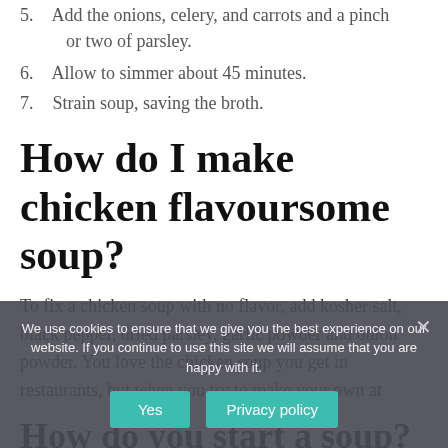5. Add the onions, celery, and carrots and a pinch or two of parsley.
6. Allow to simmer about 45 minutes.
7. Strain soup, saving the broth.
How do I make chicken flavoursome soup?
To fix a chicken soup with no flavor, add kosher salt, black pepper, dried parsley, garlic powder and onion powder. You love the chicken soup you get in restaurants, but when you try to make your own at h
How do you start a soup?
Method
We use cookies to ensure that we give you the best experience on our website. If you continue to use this site we will assume that you are happy with it.